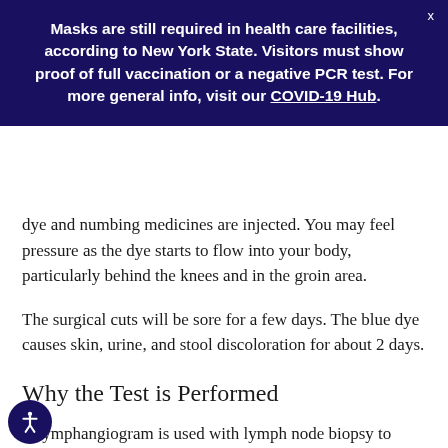Masks are still required in health care facilities, according to New York State. Visitors must show proof of full vaccination or a negative PCR test. For more general info, visit our COVID-19 Hub.
dye and numbing medicines are injected. You may feel pressure as the dye starts to flow into your body, particularly behind the knees and in the groin area.
The surgical cuts will be sore for a few days. The blue dye causes skin, urine, and stool discoloration for about 2 days.
Why the Test is Performed
A lymphangiogram is used with lymph node biopsy to determine the possible spread of cancer and the effectiveness of cancer